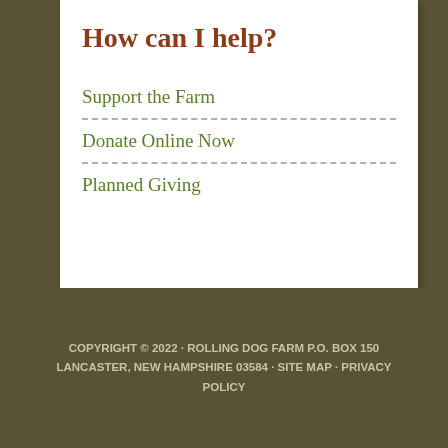How can I help?
Support the Farm
Donate Online Now
Planned Giving
COPYRIGHT © 2022 · ROLLING DOG FARM P.O. BOX 150 LANCASTER, NEW HAMPSHIRE 03584 · SITE MAP · PRIVACY POLICY